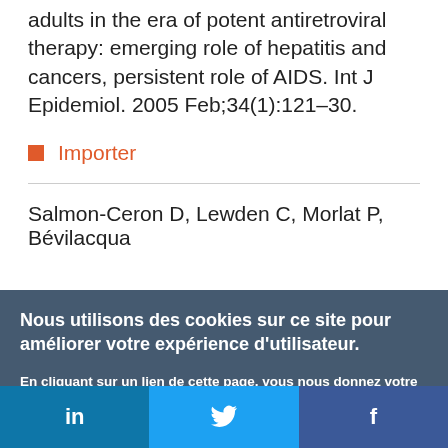adults in the era of potent antiretroviral therapy: emerging role of hepatitis and cancers, persistent role of AIDS. Int J Epidemiol. 2005 Feb;34(1):121–30.
Importer
Salmon-Ceron D, Lewden C, Morlat P, Bévilacqua
Nous utilisons des cookies sur ce site pour améliorer votre expérience d'utilisateur.
En cliquant sur un lien de cette page, vous nous donnez votre consentement de définir des cookies.
Oui, je suis d'accord
Plus d'infos
in  [Twitter bird]  f